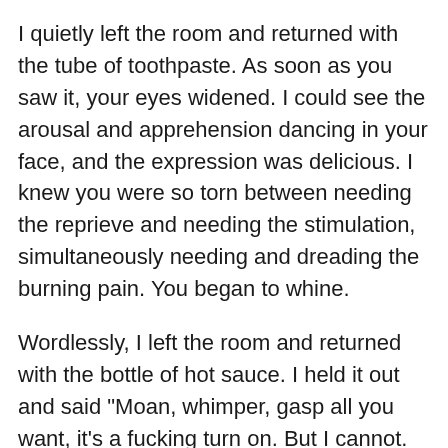I quietly left the room and returned with the tube of toothpaste. As soon as you saw it, your eyes widened. I could see the arousal and apprehension dancing in your face, and the expression was delicious. I knew you were so torn between needing the reprieve and needing the stimulation, simultaneously needing and dreading the burning pain. You began to whine.
Wordlessly, I left the room and returned with the bottle of hot sauce. I held it out and said "Moan, whimper, gasp all you want, it's a fucking turn on. But I cannot. Fucking. Stand. Whining. So if you're going to whine, I'll give you something to whine about. And once this is on your clit, even if you safeword, we can wipe it off to decrease it a bit, but the burning isn't going to stop until it wears off on its own. So are you going to be a good girl," I held out the...